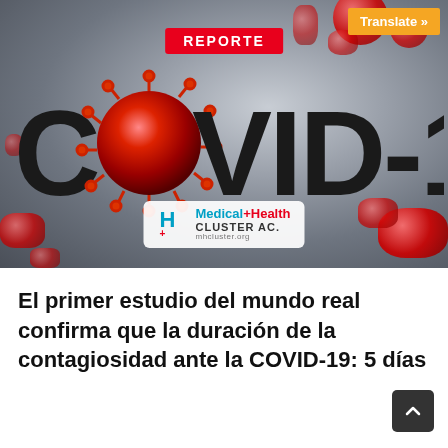[Figure (photo): COVID-19 report banner image showing a coronavirus particle rendered in 3D with red blood cells on a light gray background. Text overlay reads 'REPORTE' in a red badge and 'COVID-19' in large dark letters. Medical Health Cluster AC logo with mhcluster.org URL shown in a white rounded box at the bottom of the image. An orange 'Translate »' button appears in the top-right corner.]
El primer estudio del mundo real confirma que la duración de la contagiosidad ante la COVID-19: 5 días